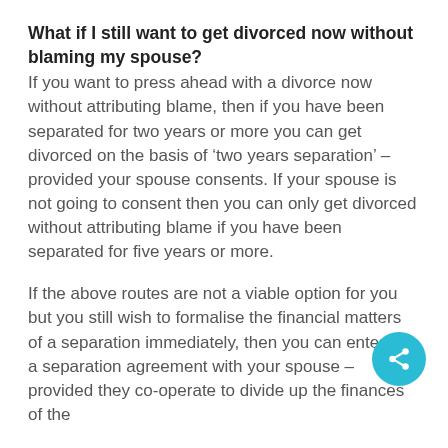What if I still want to get divorced now without blaming my spouse?
If you want to press ahead with a divorce now without attributing blame, then if you have been separated for two years or more you can get divorced on the basis of ‘two years separation’ – provided your spouse consents. If your spouse is not going to consent then you can only get divorced without attributing blame if you have been separated for five years or more.
If the above routes are not a viable option for you but you still wish to formalise the financial matters of a separation immediately, then you can enter into a separation agreement with your spouse – provided they co-operate to divide up the finances of the